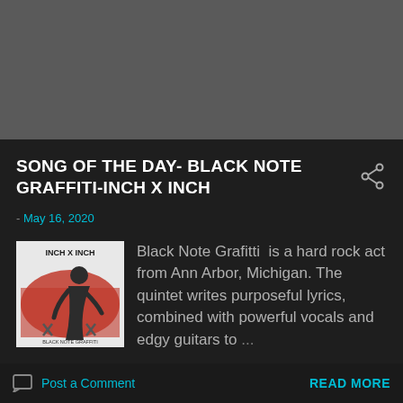SONG OF THE DAY- BLACK NOTE GRAFFITI-INCH X INCH
- May 16, 2020
[Figure (photo): Album cover for Inch X Inch by Black Note Graffiti - shows a dark figure on a white/red background with text 'INCH X INCH']
Black Note Grafitti  is a hard rock act from Ann Arbor, Michigan. The quintet writes purposeful lyrics, combined with powerful vocals and edgy guitars to ...
Post a Comment
READ MORE